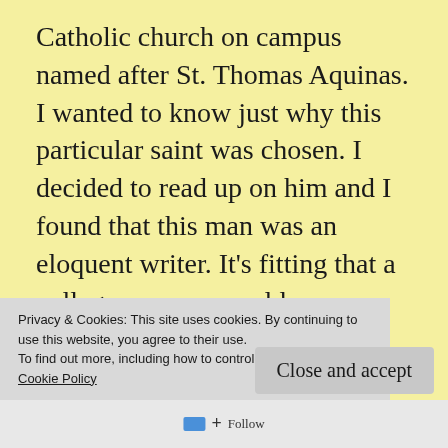Catholic church on campus named after St. Thomas Aquinas. I wanted to know just why this particular saint was chosen. I decided to read up on him and I found that this man was an eloquent writer. It's fitting that a college campus would name a church after him, as his most well-known writing, the Summa Theologica, has a scholarly feel to it. St. Thomas Aquinas was born in 1225 to a wealthy family. Yet like many saints born from a wealthy family, he would eventually disparage
Privacy & Cookies: This site uses cookies. By continuing to use this website, you agree to their use.
To find out more, including how to control cookies, see here:
Cookie Policy
Close and accept